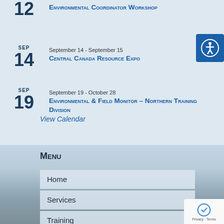12 Environmental Coordinator Workshop
SEP 14 - September 14 - September 15 Central Canada Resource Expo
SEP 19 - September 19 - October 28 Environmental & Field Monitor – Northern Training Division
View Calendar
Menu
Home
Services
Training